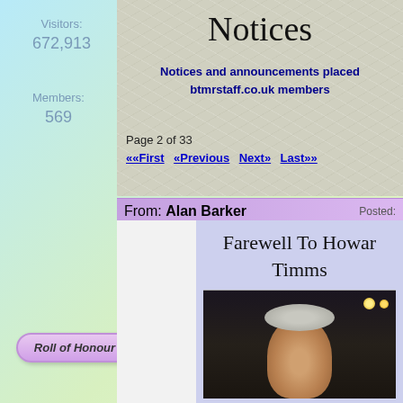Visitors:
672,913
Members:
569
Notices
Notices and announcements placed by btmrstaff.co.uk members
Page 2 of 33
««First  «Previous  Next»  Last»»
From: Alan Barker  Posted:
Farewell To Howard Timms
[Figure (photo): Portrait photo of a person in dark background with warm lights visible]
Roll of Honour